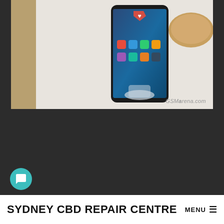[Figure (photo): A smartphone (Huawei Mate 20 Lite) displayed on a white surface, showing its screen with app icons. GSMArena.com watermark visible in bottom right corner.]
Like the true Mates, the 20 lite has a large display – in this case a 6.3-inch FullHD-ish panel in a 19.5:9 aspect, complete with the mandatory notch. Mandatory for a Mate, this Lite one has a generous 3,750mAh battery – couple that with the 12nm SoC and we're in for some pretty good endurance.
SYDNEY CBD REPAIR CENTRE MENU ≡